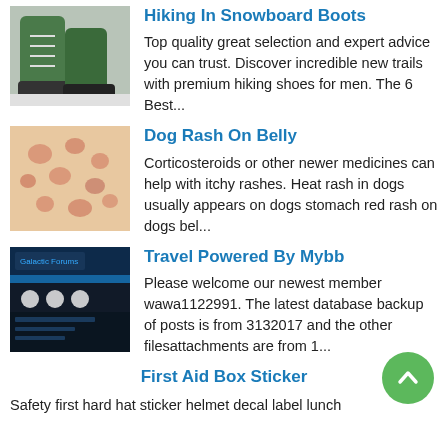Hiking In Snowboard Boots
[Figure (photo): Photo of snowboard boots on a snowy surface]
Top quality great selection and expert advice you can trust. Discover incredible new trails with premium hiking shoes for men. The 6 Best...
Dog Rash On Belly
[Figure (photo): Close-up photo of a dog's belly skin with rash]
Corticosteroids or other newer medicines can help with itchy rashes. Heat rash in dogs usually appears on dogs stomach red rash on dogs bel...
Travel Powered By Mybb
[Figure (screenshot): Screenshot of a forum website with dark blue header and lights]
Please welcome our newest member wawa1122991. The latest database backup of posts is from 3132017 and the other filesattachments are from 1...
First Aid Box Sticker
Safety first hard hat sticker helmet decal label lunch